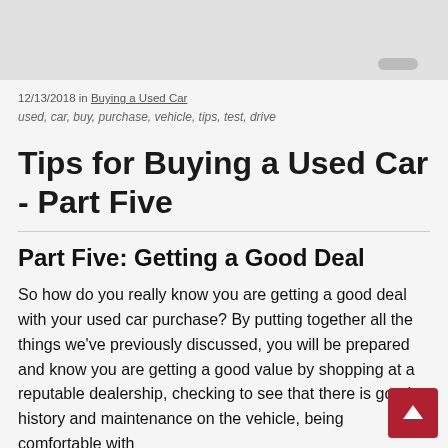12/13/2018 in Buying a Used Car
used, car, buy, purchase, vehicle, tips, test, drive
Tips for Buying a Used Car - Part Five
Part Five: Getting a Good Deal
So how do you really know you are getting a good deal with your used car purchase? By putting together all the things we've previously discussed, you will be prepared and know you are getting a good value by shopping at a reputable dealership, checking to see that there is good history and maintenance on the vehicle, being comfortable with